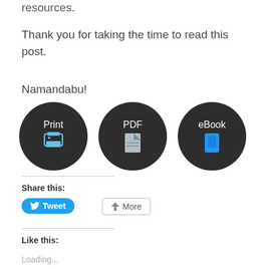resources.
Thank you for taking the time to read this post.
Namandabu!
[Figure (infographic): Three dark circular buttons labeled Print (with printer icon), PDF (with document icon), and eBook (with blue book/tablet icon)]
Share this:
Tweet
More
Like this:
Loading...